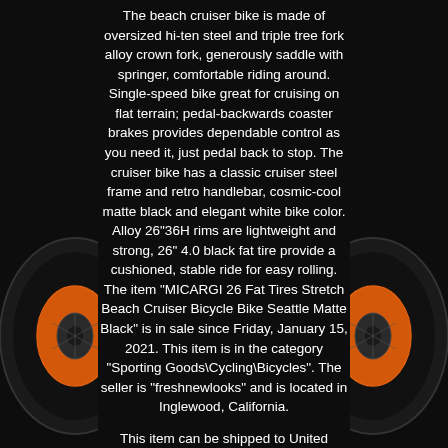The beach cruiser bike is made of oversized hi-ten steel and triple tree fork alloy crown fork, generously saddle with springer, comfortable riding around. Single-speed bike great for cruising on flat terrain; pedal-backwards coaster brakes provides dependable control as you need it, just pedal back to stop. The cruiser bike has a classic cruiser steel frame and retro handlebar, cosmic-cool matte black and elegant white bike color. Alloy 26"36H rims are lightweight and strong, 26" 4.0 black fat tire provide a cushioned, stable ride for easy rolling. The item "MICARGI 26 Fat Tires Stretch Beach Cruiser Bicycle Bike Seattle Matte Black" is in sale since Friday, January 15, 2021. This item is in the category "Sporting Goods\Cycling\Bicycles". The seller is "freshnewlooks" and is located in Inglewood, California.
This item can be shipped to United States, Canada, United Kingdom, Denmark, Romania, Slovakia, Bulgaria, Czech republic, Finland, Hungary, Latvia, Lithuania, Malta, Estonia, Australia, Greece, Portugal, Cyprus, Slovenia, Japan, China, Sweden, South Korea, Indonesia, Taiwan, South africa, Thailand, Belgium, France, Hong Kong, Ireland, Netherlands, Poland, Spain, Italy, Germany, Austria, Bahamas, Israel, Mexico, New Zealand, Singapore, Switzerland, Norway, Saudi arabia, Ukraine, United arab emirates, Qatar, Kuwait, Bahrain, Croatia,
[Figure (photo): Left side of a black fat-tire beach cruiser bicycle wheel with orange accent, partially visible on the left edge of the page]
[Figure (photo): Right side of a black fat-tire beach cruiser bicycle wheel with orange accent, partially visible on the right edge of the page]